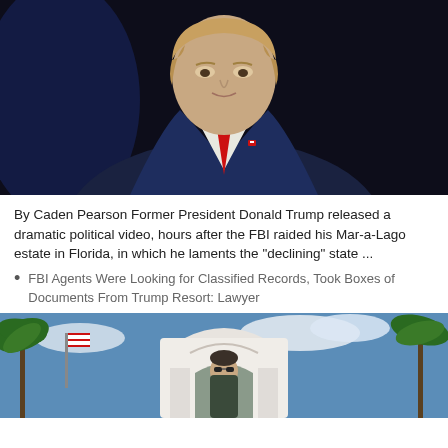[Figure (photo): Portrait photo of former President Donald Trump in dark navy suit with red tie against a dark background]
By Caden Pearson Former President Donald Trump released a dramatic political video, hours after the FBI raided his Mar-a-Lago estate in Florida, in which he laments the "declining" state ...
FBI Agents Were Looking for Classified Records, Took Boxes of Documents From Trump Resort: Lawyer
[Figure (photo): Photo of Mar-a-Lago resort entrance with palm trees, a security guard or person in sunglasses, and an ornate white gate structure]